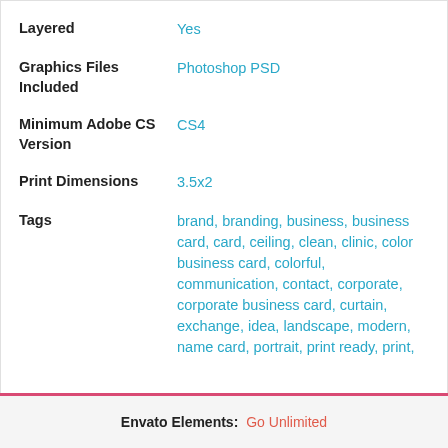| Property | Value |
| --- | --- |
| Layered | Yes |
| Graphics Files Included | Photoshop PSD |
| Minimum Adobe CS Version | CS4 |
| Print Dimensions | 3.5x2 |
| Tags | brand, branding, business, business card, card, ceiling, clean, clinic, color business card, colorful, communication, contact, corporate, corporate business card, curtain, exchange, idea, landscape, modern, name card, portrait, print ready, print, |
Envato Elements: Go Unlimited